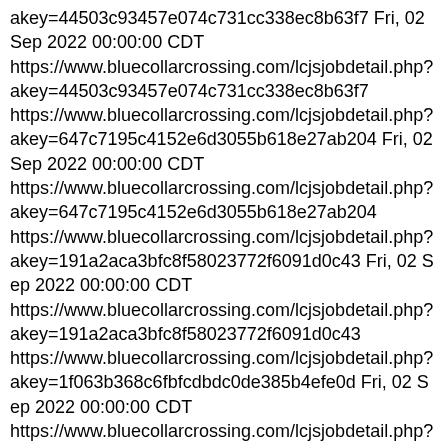akey=44503c93457e074c731cc338ec8b63f7 Fri, 02 Sep 2022 00:00:00 CDT https://www.bluecollarcrossing.com/lcjsjobdetail.php?akey=44503c93457e074c731cc338ec8b63f7 https://www.bluecollarcrossing.com/lcjsjobdetail.php?akey=647c7195c4152e6d3055b618e27ab204 Fri, 02 Sep 2022 00:00:00 CDT https://www.bluecollarcrossing.com/lcjsjobdetail.php?akey=647c7195c4152e6d3055b618e27ab204 https://www.bluecollarcrossing.com/lcjsjobdetail.php?akey=191a2aca3bfc8f58023772f6091d0c43 Fri, 02 Sep 2022 00:00:00 CDT https://www.bluecollarcrossing.com/lcjsjobdetail.php?akey=191a2aca3bfc8f58023772f6091d0c43 https://www.bluecollarcrossing.com/lcjsjobdetail.php?akey=1f063b368c6fbfcdbdc0de385b4efe0d Fri, 02 Sep 2022 00:00:00 CDT https://www.bluecollarcrossing.com/lcjsjobdetail.php?akey=1f063b368c6fbfcdbdc0de385b4efe0d https://www.bluecollarcrossing.com/lcjsjobdetail.php?akey=ee3f1c925546b0e50de3a6ce8883cdc4 Fri, 02 Sep 2022 00:00:00 CDT https://www.bluecollarcrossing.com/lcjsjobdetail.php?akey=ee3f1c925546b0e50de3a6ce8883cdc4 https://www.bluecollarcrossing.com/lcjsjobdetail.php?